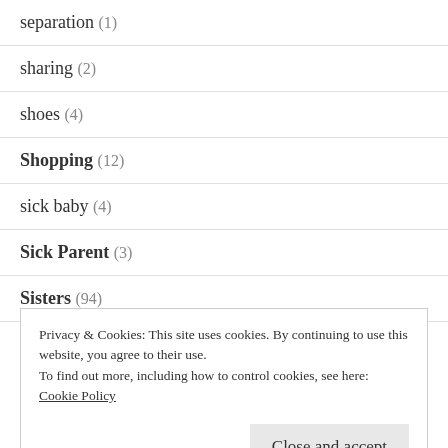separation (1)
sharing (2)
shoes (4)
Shopping (12)
sick baby (4)
Sick Parent (3)
Sisters (94)
Privacy & Cookies: This site uses cookies. By continuing to use this website, you agree to their use.
To find out more, including how to control cookies, see here: Cookie Policy
Close and accept